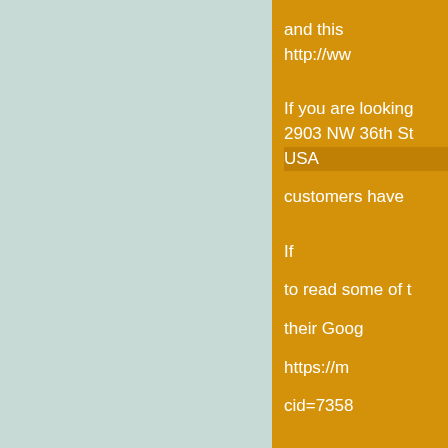and this http://www
If you are looking 2903 NW 36th St USA customers have
If to read some of their Goog https://m cid=7358